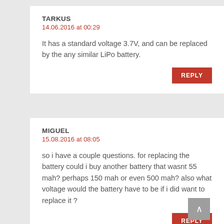TARKUS
14.06.2016 at 00:29
It has a standard voltage 3.7V, and can be replaced by the any similar LiPo battery.
MIGUEL
15.08.2016 at 08:05
so i have a couple questions. for replacing the battery could i buy another battery that wasnt 55 mah? perhaps 150 mah or even 500 mah? also what voltage would the battery have to be if i did want to replace it ?